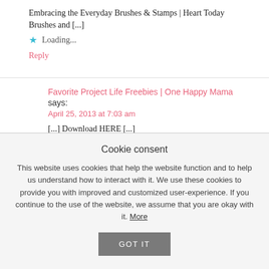Embracing the Everyday Brushes & Stamps | Heart Today Brushes and [...]
★ Loading...
Reply
Favorite Project Life Freebies | One Happy Mama says:
April 25, 2013 at 7:03 am
[...] Download HERE [...]
★ Loading...
Cookie consent
This website uses cookies that help the website function and to help us understand how to interact with it. We use these cookies to provide you with improved and customized user-experience. If you continue to the use of the website, we assume that you are okay with it. More
GOT IT